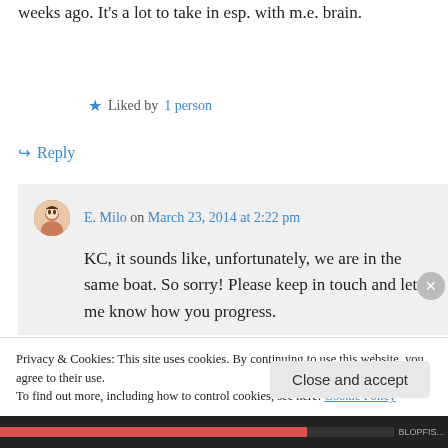weeks ago. It's a lot to take in esp. with m.e. brain.
Liked by 1 person
↪ Reply
E. Milo on March 23, 2014 at 2:22 pm
KC, it sounds like, unfortunately, we are in the same boat. So sorry! Please keep in touch and let me know how you progress.
Privacy & Cookies: This site uses cookies. By continuing to use this website, you agree to their use.
To find out more, including how to control cookies, see here: Cookie Policy
Close and accept